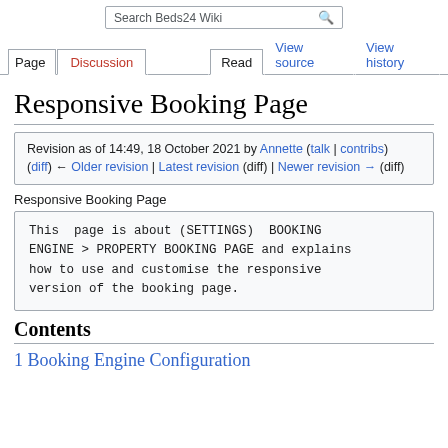Search Beds24 Wiki
Page | Discussion | Read | View source | View history
Responsive Booking Page
Revision as of 14:49, 18 October 2021 by Annette (talk | contribs)
(diff) ← Older revision | Latest revision (diff) | Newer revision → (diff)
Responsive Booking Page
This  page is about (SETTINGS)  BOOKING
ENGINE > PROPERTY BOOKING PAGE and explains
how to use and customise the responsive
version of the booking page.
Contents
1 Booking Engine Configuration